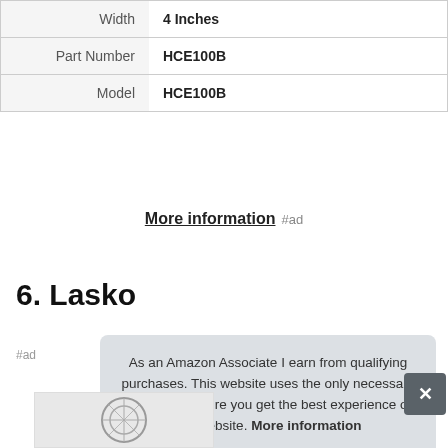|  |  |
| --- | --- |
| Width | 4 Inches |
| Part Number | HCE100B |
| Model | HCE100B |
More information #ad
6. Lasko
#ad
As an Amazon Associate I earn from qualifying purchases. This website uses the only necessary cookies to ensure you get the best experience on our website. More information